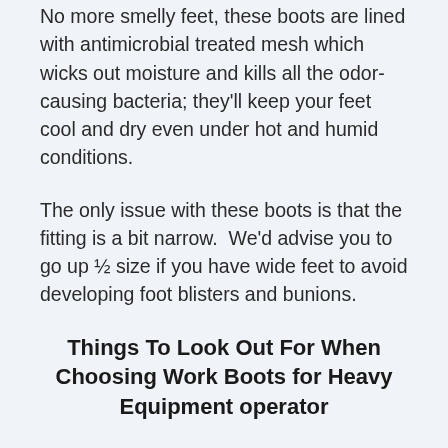No more smelly feet, these boots are lined with antimicrobial treated mesh which wicks out moisture and kills all the odor-causing bacteria; they'll keep your feet cool and dry even under hot and humid conditions.
The only issue with these boots is that the fitting is a bit narrow.  We'd advise you to go up ½ size if you have wide feet to avoid developing foot blisters and bunions.
Things To Look Out For When Choosing Work Boots for Heavy Equipment operator